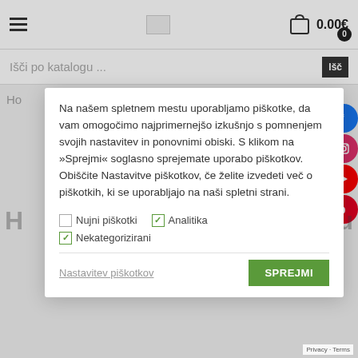0.00€
Išči po katalogu ...
Na našem spletnem mestu uporabljamo piškotke, da vam omogočimo najprimernejšo izkušnjo s pomnenjem svojih nastavitev in ponovnimi obiski. S klikom na »Sprejmi« soglasno sprejemate uporabo piškotkov. Obiščite Nastavitve piškotkov, če želite izvedeti več o piškotkih, ki se uporabljajo na naši spletni strani.
Nujni piškotki
Analitika
Nekategorizirani
Nastavitev piškotkov
SPREJMI
Privacy - Terms